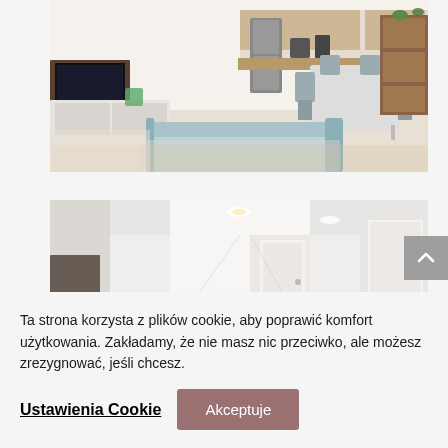[Figure (photo): Interior of a modern apartment showing open-plan living area with kitchen, dining table with grey chairs, refrigerator, wooden shelving unit, TV console, light-coloured sofa, and potted plants.]
[Figure (photo): Interior hallway of a modern apartment with white walls, recessed ceiling lights, and doors visible at the end of the corridor.]
Ta strona korzysta z plików cookie, aby poprawić komfort użytkowania. Zakładamy, że nie masz nic przeciwko, ale możesz zrezygnować, jeśli chcesz.
Ustawienia Cookie
Akceptuje